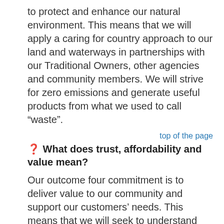to protect and enhance our natural environment. This means that we will apply a caring for country approach to our land and waterways in partnerships with our Traditional Owners, other agencies and community members. We will strive for zero emissions and generate useful products from what we used to call “waste”.
top of the page
❓ What does trust, affordability and value mean?
Our outcome four commitment is to deliver value to our community and support our customers’ needs. This means that we will seek to understand the diverse needs and values of our customers and